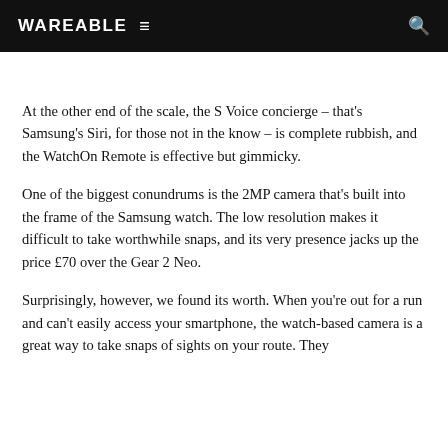WAREABLE
At the other end of the scale, the S Voice concierge – that's Samsung's Siri, for those not in the know – is complete rubbish, and the WatchOn Remote is effective but gimmicky.
One of the biggest conundrums is the 2MP camera that's built into the frame of the Samsung watch. The low resolution makes it difficult to take worthwhile snaps, and its very presence jacks up the price £70 over the Gear 2 Neo.
Surprisingly, however, we found its worth. When you're out for a run and can't easily access your smartphone, the watch-based camera is a great way to take snaps of sights on your route. They